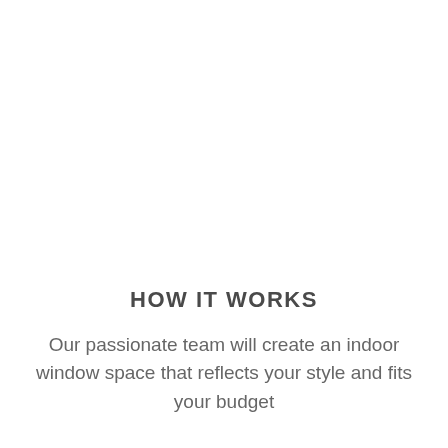HOW IT WORKS
Our passionate team will create an indoor window space that reflects your style and fits your budget